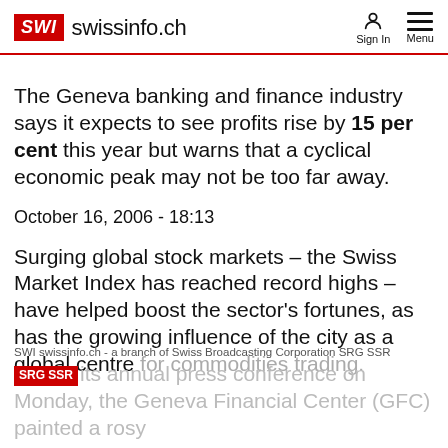SWI swissinfo.ch  Sign In  Menu
The Geneva banking and finance industry says it expects to see profits rise by 15 per cent this year but warns that a cyclical economic peak may not be too far away.
October 16, 2006 - 18:13
Surging global stock markets – the Swiss Market Index has reached record highs – have helped boost the sector's fortunes, as has the growing influence of the city as a global centre for commodities trading.
SWI swissinfo.ch - a branch of Swiss Broadcasting Corporation SRG SSR
its annual press conference on Monday, the Geneva Financial Center (GFC) painted a rosy